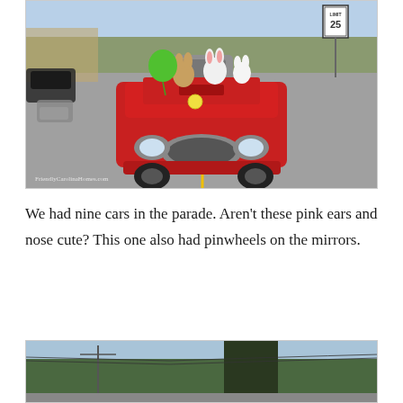[Figure (photo): A red Mini Cooper convertible decorated with Easter bunny stuffed animals and a green balloon leads a parade of cars down a street. A speed limit 25 sign is visible on the right. Watermark reads FriendlyCarolinaHomes.com]
We had nine cars in the parade. Aren't these pink ears and nose cute? This one also had pinwheels on the mirrors.
[Figure (photo): Outdoor scene showing trees and utility poles against a blue sky, partial view at the bottom of the page.]